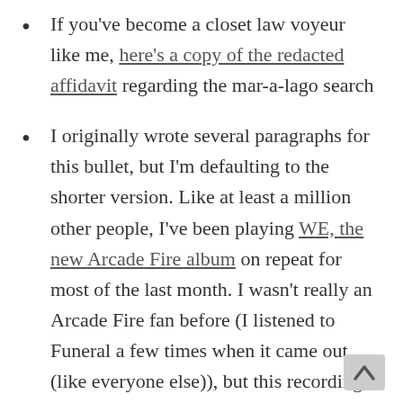If you've become a closet law voyeur like me, here's a copy of the redacted affidavit regarding the mar-a-lago search
I originally wrote several paragraphs for this bullet, but I'm defaulting to the shorter version. Like at least a million other people, I've been playing WE, the new Arcade Fire album on repeat for most of the last month. I wasn't really an Arcade Fire fan before (I listened to Funeral a few times when it came out (like everyone else)), but this recording is the first album from any artist that I've really connected with. YMMV, but I